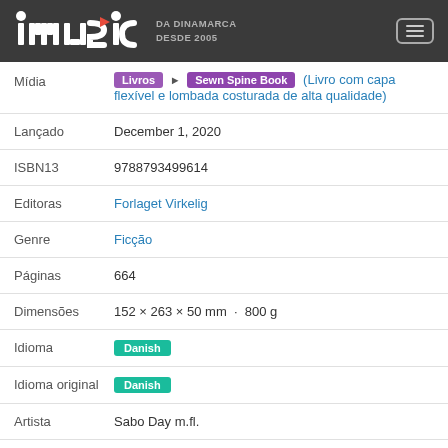imusic DA DINAMARCA DESDE 2005
| Field | Value |
| --- | --- |
| Mídia | Livros > Sewn Spine Book (Livro com capa flexível e lombada costurada de alta qualidade) |
| Lançado | December 1, 2020 |
| ISBN13 | 9788793499614 |
| Editoras | Forlaget Virkelig |
| Genre | Ficção |
| Páginas | 664 |
| Dimensões | 152 × 263 × 50 mm · 800 g |
| Idioma | Danish |
| Idioma original | Danish |
| Artista | Sabo Day m.fl. |